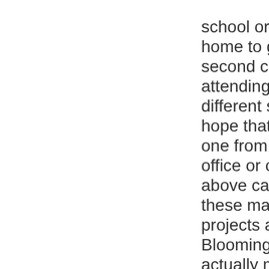school or getting home to get a second child attending a different school. I hope that some one from this office or one from above can look at these many projects around Bloomington and actually manage them in accordance to the community and just not